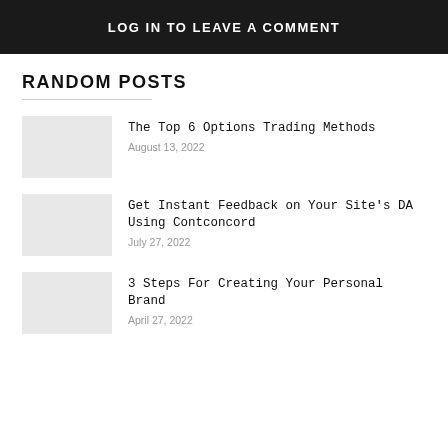LOG IN TO LEAVE A COMMENT
RANDOM POSTS
The Top 6 Options Trading Methods
August 13, 2022
Get Instant Feedback on Your Site's DA Using Contconcord
July 27, 2022
3 Steps For Creating Your Personal Brand
April 27, 2022